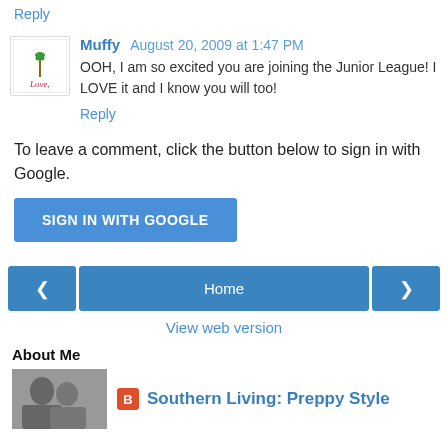Reply
Muffy  August 20, 2009 at 1:47 PM
OOH, I am so excited you are joining the Junior League! I LOVE it and I know you will too!
Reply
To leave a comment, click the button below to sign in with Google.
SIGN IN WITH GOOGLE
Home
View web version
About Me
Southern Living: Preppy Style